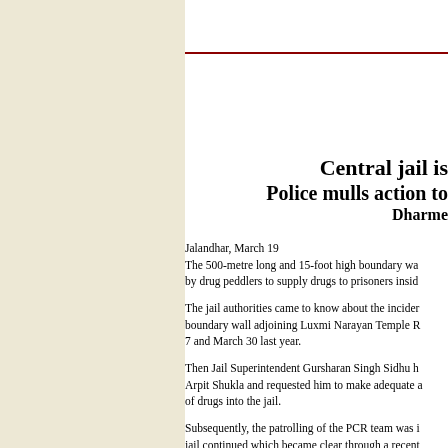Central jail is
Police mulls action to
Dharme
Jalandhar, March 19
The 500-metre long and 15-foot high boundary wa... by drug peddlers to supply drugs to prisoners insid...
The jail authorities came to know about the incider... boundary wall adjoining Luxmi Narayan Temple R... 7 and March 30 last year.
Then Jail Superintendent Gursharan Singh Sidhu h... Arpit Shukla and requested him to make adequate a... of drugs into the jail.
Subsequently, the patrolling of the PCR team was i... jail continued which became clear through a recent...